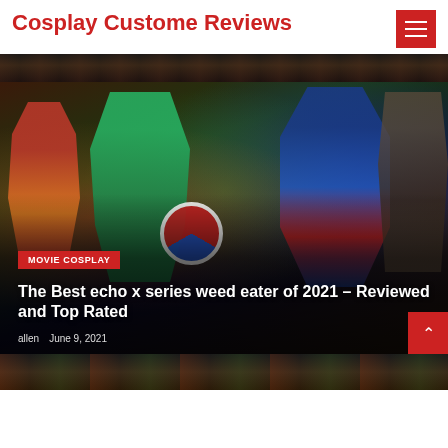Cosplay Custome Reviews
[Figure (illustration): Top banner strip showing dark comic book character illustration background]
[Figure (illustration): Main featured article card with Marvel/DC superheroes comic art background including Iron Man, Hulk, Captain America shield, Superman. Contains 'MOVIE COSPLAY' badge, article title 'The Best echo x series weed eater of 2021 – Reviewed and Top Rated', author 'allen', date 'June 9, 2021', and a red scroll-to-top button with chevron icon.]
[Figure (illustration): Bottom partial image strip showing more comic superhero art]